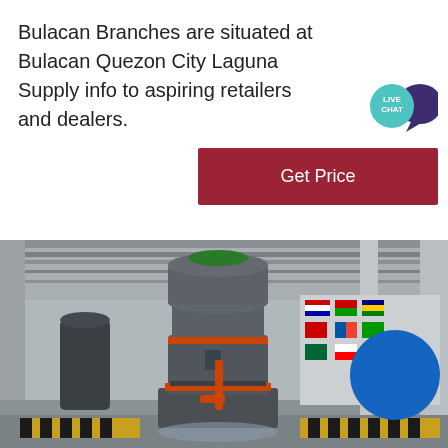Bulacan Branches are situated at Bulacan Quezon City Laguna Supply info to aspiring retailers and dealers.
[Figure (illustration): Live Chat speech bubble icon in teal/cyan color]
[Figure (other): Get Price button in dark red/maroon color]
[Figure (photo): Industrial grinding mill machine inside a large factory/warehouse with international flags visible in the background. The machine is a large vertical roller mill, grey with orange accents, in a brightly lit industrial hall.]